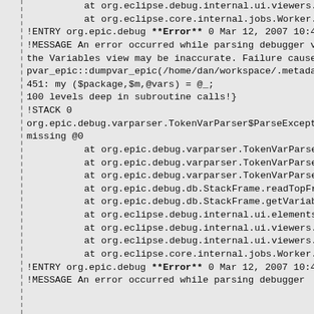at org.eclipse.debug.internal.ui.viewers.p
    at org.eclipse.core.internal.jobs.Worker.ru
!ENTRY org.epic.debug **Error** 0 Mar 12, 2007 10:4
!MESSAGE An error occurred while parsing debugger v
the Variables view may be inaccurate. Failure cause
pvar_epic::dumpvar_epic(/home/dan/workspace/.metada
451:        my ($package,$m,@vars) = @_;
100 levels deep in subroutine calls!}
!STACK 0
org.epic.debug.varparser.TokenVarParser$ParseExcept
missing @0
    at org.epic.debug.varparser.TokenVarParser.
    at org.epic.debug.varparser.TokenVarParser.
    at org.epic.debug.varparser.TokenVarParser.
    at org.epic.debug.db.StackFrame.readTopFram
    at org.epic.debug.db.StackFrame.getVariable
    at org.eclipse.debug.internal.ui.elements.a
    at org.eclipse.debug.internal.ui.viewers.pr
    at org.eclipse.debug.internal.ui.viewers.pr
    at org.eclipse.core.internal.jobs.Worker.ru
!ENTRY org.epic.debug **Error** 0 Mar 12, 2007 10:4
!MESSAGE An error occurred while parsing debugger